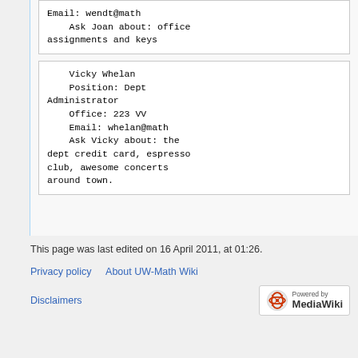Email: wendt@math
    Ask Joan about: office assignments and keys
Vicky Whelan
    Position: Dept Administrator
    Office: 223 VV
    Email: whelan@math
    Ask Vicky about: the dept credit card, espresso club, awesome concerts around town.
This page was last edited on 16 April 2011, at 01:26.
Privacy policy   About UW-Math Wiki
Disclaimers